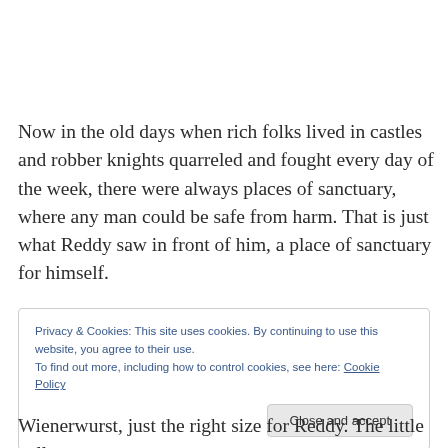Now in the old days when rich folks lived in castles and robber knights quarreled and fought every day of the week, there were always places of sanctuary, where any man could be safe from harm. That is just what Reddy saw in front of him, a place of sanctuary for himself.
Privacy & Cookies: This site uses cookies. By continuing to use this website, you agree to their use.
To find out more, including how to control cookies, see here: Cookie Policy
Close and accept
Wienerwurst, just the right size for Reddy. The little yellow